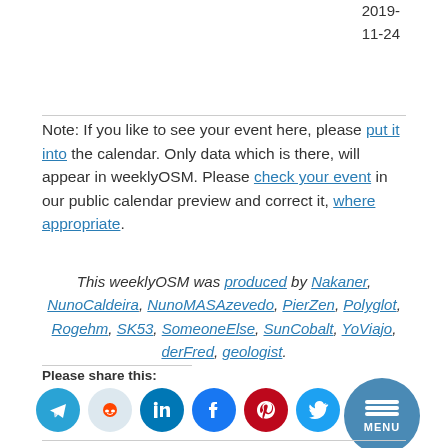2019-
11-24
Note: If you like to see your event here, please put it into the calendar. Only data which is there, will appear in weeklyOSM. Please check your event in our public calendar preview and correct it, where appropriate.
This weeklyOSM was produced by Nakaner, NunoCaldeira, NunoMASAzevedo, PierZen, Polyglot, Rogehm, SK53, SomeoneElse, SunCobalt, YoViajo, derFred, geologist.
Please share this:
[Figure (infographic): Social share icons: Telegram, Reddit, LinkedIn, Facebook, Pinterest, Twitter, Print, and a floating MENU button]